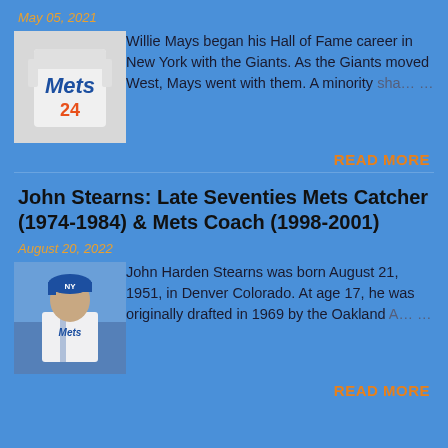May 05, 2021
[Figure (photo): Mets jersey number 24 thumbnail image]
Willie Mays began his Hall of Fame career in New York with the Giants. As the Giants moved West, Mays went with them. A minority sha… …
READ MORE
John Stearns: Late Seventies Mets Catcher (1974-1984) & Mets Coach (1998-2001)
August 20, 2022
[Figure (photo): John Stearns player photo in Mets uniform]
John Harden Stearns was born August 21, 1951, in Denver Colorado. At age 17, he was originally drafted in 1969 by the Oakland A… …
READ MORE